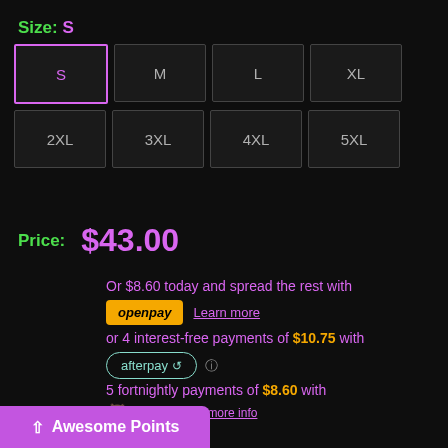Size: S
S (selected), M, L, XL, 2XL, 3XL, 4XL, 5XL
Price: $43.00
Or $8.60 today and spread the rest with openpay Learn more
or 4 interest-free payments of $10.75 with afterpay
5 fortnightly payments of $8.60 with humm® more info
[Figure (logo): PayPal Pay in 4 logo]
Awesome Points